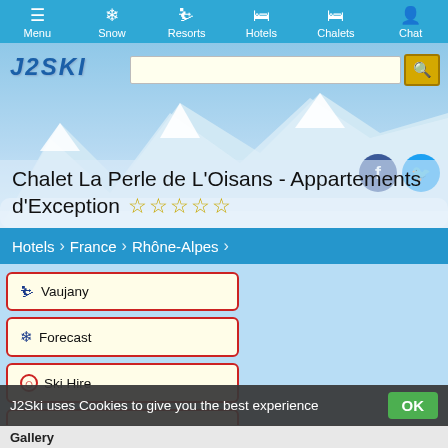Menu | Snow | Resorts | Hotels | Chalets | Chat
[Figure (screenshot): J2Ski website header with logo, search bar, mountain background photo, and social media icons (Facebook, Twitter)]
Chalet La Perle de L'Oisans - Appartements d'Exception ☆☆☆☆☆
Hotels > France > Rhône-Alpes
Vaujany
Forecast
Ski Hire
Transfers
Lessons
Chalets
Chalet La Perle de L'Oisans - Appartements d'Exception 9.4 ☆☆☆☆☆
J2Ski uses Cookies to give you the best experience OK
Gallery